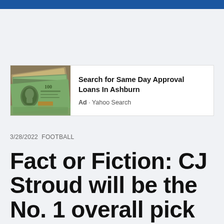[Figure (screenshot): Advertisement banner showing an image of US dollar bills on the left and text 'Search for Same Day Approval Loans In Ashburn' with 'Ad · Yahoo Search' below it on the right.]
3/28/2022  FOOTBALL
Fact or Fiction: CJ Stroud will be the No. 1 overall pick in 2023